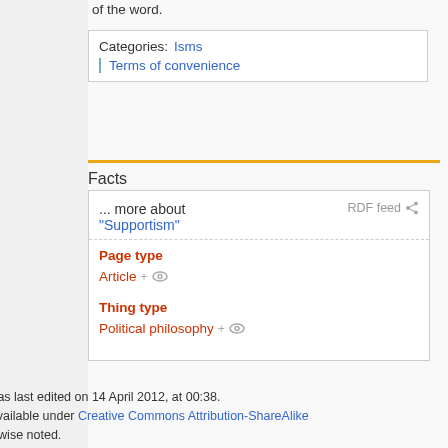of the word.
Categories:  Isms
| Terms of convenience
Facts
... more about "Supportism"
RDF feed
Page type
Article+
Thing type
Political philosophy+
This page was last edited on 14 April 2012, at 00:38.
Content is available under Creative Commons Attribution-ShareAlike unless otherwise noted.